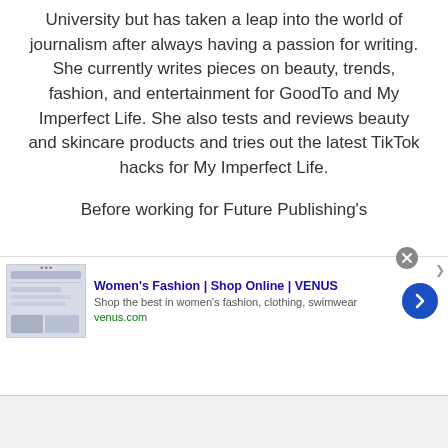University but has taken a leap into the world of journalism after always having a passion for writing. She currently writes pieces on beauty, trends, fashion, and entertainment for GoodTo and My Imperfect Life. She also tests and reviews beauty and skincare products and tries out the latest TikTok hacks for My Imperfect Life.
Before working for Future Publishing's
[Figure (screenshot): Advertisement banner for Women's Fashion | Shop Online | VENUS. Shows a thumbnail image of a fashion website, ad title in blue, description text 'Shop the best in women's fashion, clothing, swimwear', URL venus.com in green, a blue circular arrow button, and a close (X) button.]